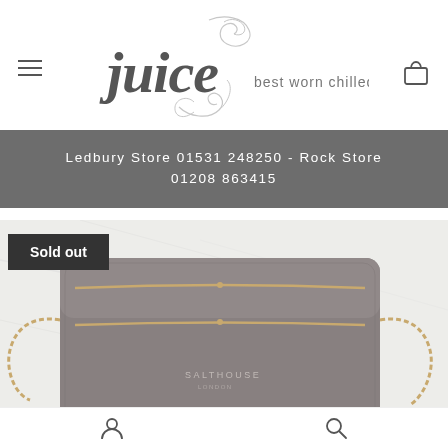[Figure (logo): Juice brand logo with swirling decorative script lettering 'juice' in dark grey and text 'best worn chilled' beside it]
Ledbury Store 01531 248250 - Rock Store 01208 863415
[Figure (photo): Grey Salthouse London crossbody camera bag with gold chain strap on a white marble background, with a 'Sold out' badge overlay]
Sold out